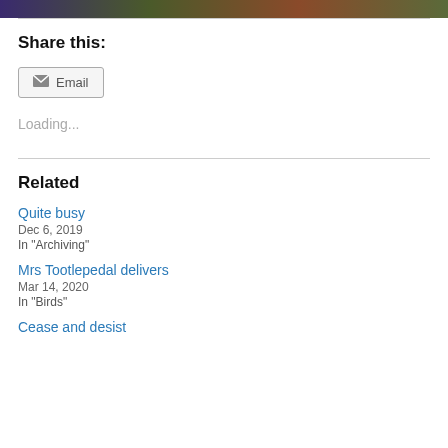[Figure (photo): Partial photo at top of page with dark colors — purple, green, brown, olive tones]
Share this:
Email button
Loading...
Related
Quite busy
Dec 6, 2019
In "Archiving"
Mrs Tootlepedal delivers
Mar 14, 2020
In "Birds"
Cease and desist